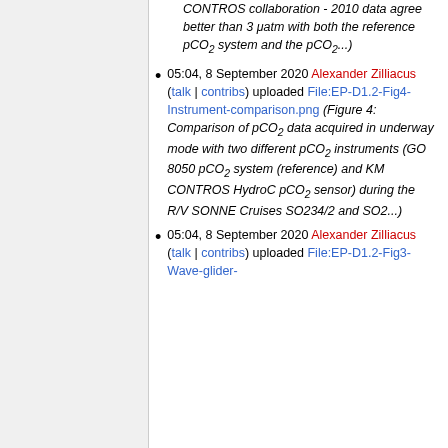CONTROS collaboration - 2010 data agree better than 3 μatm with both the reference pCO2 system and the pCO2(...)
05:04, 8 September 2020 Alexander Zilliacus (talk | contribs) uploaded File:EP-D1.2-Fig4-Instrument-comparison.png (Figure 4: Comparison of pCO2 data acquired in underway mode with two different pCO2 instruments (GO 8050 pCO2 system (reference) and KM CONTROS HydroC pCO2 sensor) during the R/V SONNE Cruises SO234/2 and SO2...)
05:04, 8 September 2020 Alexander Zilliacus (talk | contribs) uploaded File:EP-D1.2-Fig3-Wave-glider-...